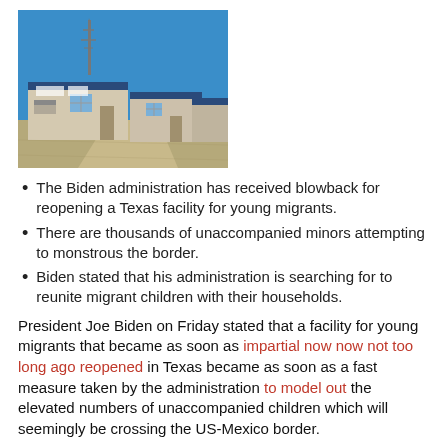[Figure (photo): Exterior photo of modular/portable building units on a dirt lot under a clear blue sky, with a communications tower visible in the background. Buildings appear to be temporary facility structures.]
The Biden administration has received blowback for reopening a Texas facility for young migrants.
There are thousands of unaccompanied minors attempting to monstrous the border.
Biden stated that his administration is searching for to reunite migrant children with their households.
President Joe Biden on Friday stated that a facility for young migrants that became as soon as impartial now now not too long ago reopened in Texas became as soon as a fast measure taken by the administration to model out the elevated numbers of unaccompanied children which will seemingly be crossing the US-Mexico border.